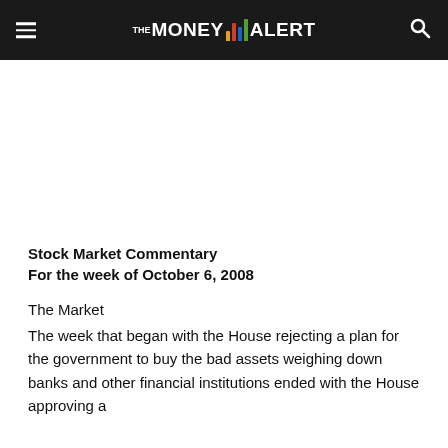THE MONEY ALERT
Stock Market Commentary
For the week of October 6, 2008
The Market
The week that began with the House rejecting a plan for the government to buy the bad assets weighing down banks and other financial institutions ended with the House approving a